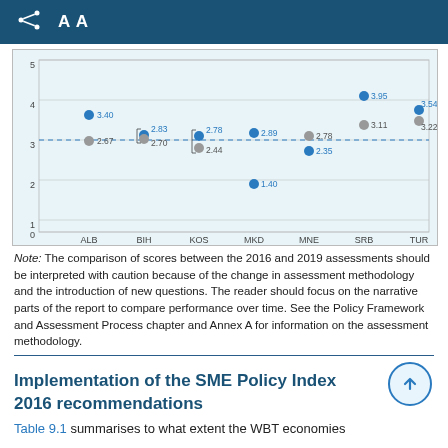AA
[Figure (scatter-plot): Scatter plot of scores by economy (ALB, BIH, KOS, MKD, MNE, SRB, TUR)]
Note: The comparison of scores between the 2016 and 2019 assessments should be interpreted with caution because of the change in assessment methodology and the introduction of new questions. The reader should focus on the narrative parts of the report to compare performance over time. See the Policy Framework and Assessment Process chapter and Annex A for information on the assessment methodology.
Implementation of the SME Policy Index 2016 recommendations
Table 9.1 summarises to what extent the WBT economies